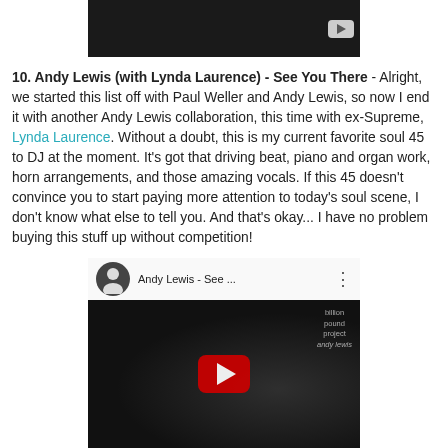[Figure (screenshot): YouTube video player top portion showing dark/black background with a YouTube play button in the top right corner]
10. Andy Lewis (with Lynda Laurence) - See You There - Alright, we started this list off with Paul Weller and Andy Lewis, so now I end it with another Andy Lewis collaboration, this time with ex-Supreme, Lynda Laurence. Without a doubt, this is my current favorite soul 45 to DJ at the moment. It's got that driving beat, piano and organ work, horn arrangements, and those amazing vocals. If this 45 doesn't convince you to start paying more attention to today's soul scene, I don't know what else to tell you. And that's okay... I have no problem buying this stuff up without competition!
[Figure (screenshot): YouTube video embed showing Andy Lewis - See You There video with channel avatar, video title, three-dot menu, and dark video area with YouTube play button. Background shows dancing figures and a billion pound project / andy lewis watermark.]